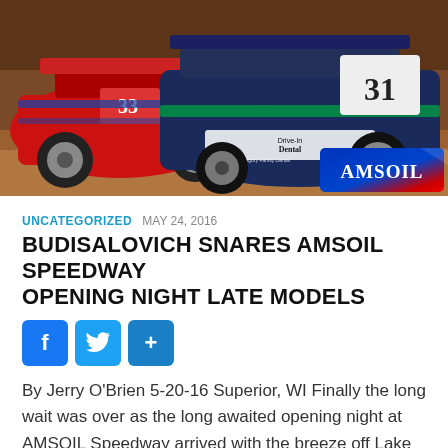[Figure (photo): Two dirt track racing cars (late models) on a dirt track. One red car on the left and one dark blue/black car on the right with 'Drive-In Dental' and 'AMSOIL' branding. AMSOIL logo visible in the bottom right corner of the photo.]
UNCATEGORIZED MAY 24, 2016
BUDISALOVICH SNARES AMSOIL SPEEDWAY OPENING NIGHT LATE MODELS
[Figure (infographic): Social share buttons: Facebook (f), Twitter (bird), and a share (+) button, all in blue rounded square icons]
By Jerry O'Brien 5-20-16 Superior, WI Finally the long wait was over as the long awaited opening night at AMSOIL Speedway arrived with the breeze off Lake Superior under a